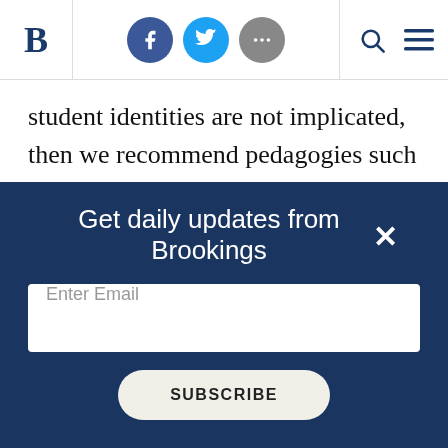Brookings Institution header with logo, social icons (Facebook, Twitter, more), search and menu
student identities are not implicated, then we recommend pedagogies such as role play or deliberation – as long as it doesn't set up a “false equivalence” that normalizes what are plainly ill-informed or offensive viewpoints.
5) Think through teacher stance and roles
Get daily updates from Brookings
Enter Email
SUBSCRIBE